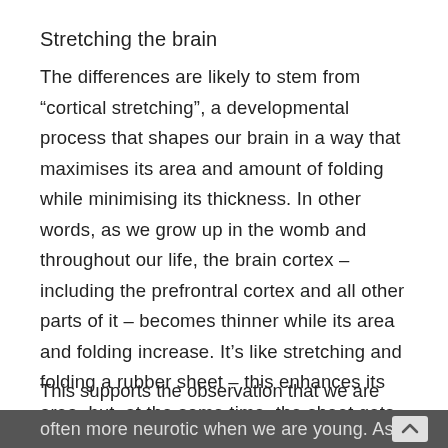Stretching the brain
The differences are likely to stem from “cortical stretching”, a developmental process that shapes our brain in a way that maximises its area and amount of folding while minimising its thickness. In other words, as we grow up in the womb and throughout our life, the brain cortex – including the prefrontral cortex and all other parts of it – becomes thinner while its area and folding increase. It’s like stretching and folding a rubber sheet – this enhances its area, but, at the same time, the sheet gets thinner.
This supports the observation that we are
often more neurotic when we are young. As we